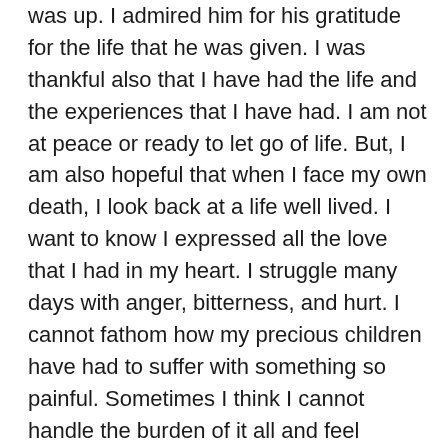was up.  I admired him for his gratitude for the life that he was given.  I was thankful also that I have had the life and the experiences that I have had.  I am not at peace or ready to let go of life.  But, I am also hopeful that when I face my own death, I look back at a life well lived.  I want to know I expressed all the love that I had in my heart.  I struggle many days with anger, bitterness, and hurt.  I cannot fathom how my precious children have had to suffer with something so painful.  Sometimes I think I cannot handle the burden of it all and feel desperate each day to just get through it all unscathed.  Then the Adams in me comes out fighting…..I am going to know on my deathbed that I gave my kids everything I had so that they could live the best life possible.  I might not